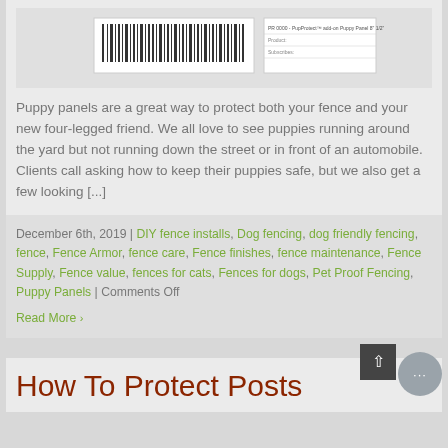[Figure (screenshot): Partial product image showing a fence panel with barcode and product listing details]
Puppy panels are a great way to protect both your fence and your new four-legged friend. We all love to see puppies running around the yard but not running down the street or in front of an automobile. Clients call asking how to keep their puppies safe, but we also get a few looking [...]
December 6th, 2019 | DIY fence installs, Dog fencing, dog friendly fencing, fence, Fence Armor, fence care, Fence finishes, fence maintenance, Fence Supply, Fence value, fences for cats, Fences for dogs, Pet Proof Fencing, Puppy Panels | Comments Off
Read More ›
How To Protect Posts